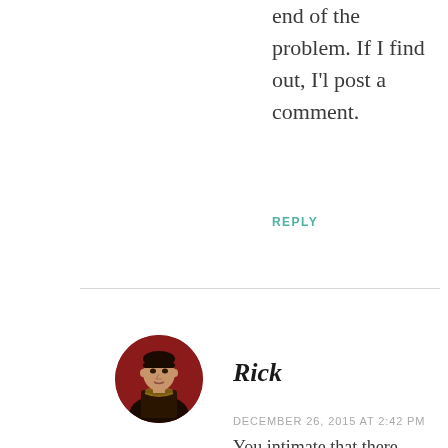end of the problem. If I find out, I'l post a comment.
REPLY
Rick
DECEMBER 26, 2015 AT 2:42 PM
You intimate that there…